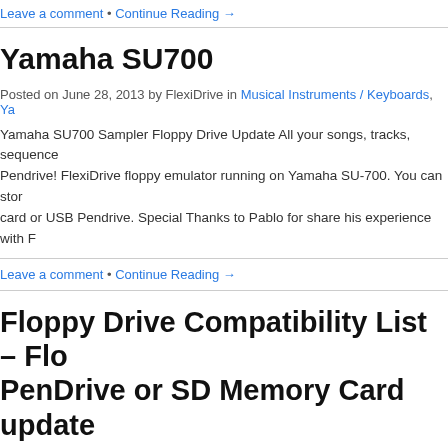Leave a comment • Continue Reading →
Yamaha SU700
Posted on June 28, 2013 by FlexiDrive in Musical Instruments / Keyboards, Ya
Yamaha SU700 Sampler Floppy Drive Update All your songs, tracks, sequence Pendrive! FlexiDrive floppy emulator running on Yamaha SU-700. You can stor card or USB Pendrive. Special Thanks to Pablo for share his experience with F
Leave a comment • Continue Reading →
Floppy Drive Compatibility List – Flo PenDrive or SD Memory Card update
Posted on April 25, 2013 by FlexiDrive in ABB Robots, CNC Machines, Ensoniq Musical Instruments / Keyboards, Roland, TEAC, Yamaha
FlexiDrive. One for All No more Floppies – No more Floppy Drive Units! – No m ALPS ELECTRIC DF334H012, DF334H021, DF334H022, DF334H031, DF334 DF334H068, DF334H089, DF334H090, DF334H101, DF334H121, DF334H15 DF334H911, DF334H914, DF334N019, DF334N020, DF334N038, DF334N05